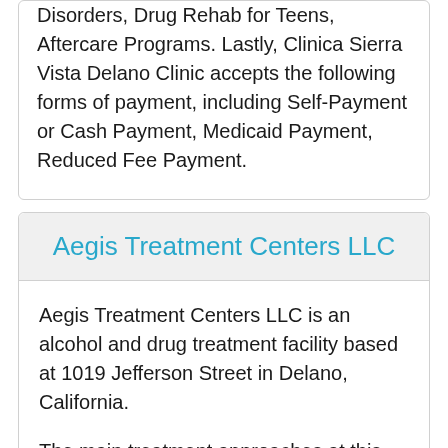Disorders, Drug Rehab for Teens, Aftercare Programs. Lastly, Clinica Sierra Vista Delano Clinic accepts the following forms of payment, including Self-Payment or Cash Payment, Medicaid Payment, Reduced Fee Payment.
Aegis Treatment Centers LLC
Aegis Treatment Centers LLC is an alcohol and drug treatment facility based at 1019 Jefferson Street in Delano, California.
The main treatment approaches at this center include Cognitive Based Behavioral Therapy,